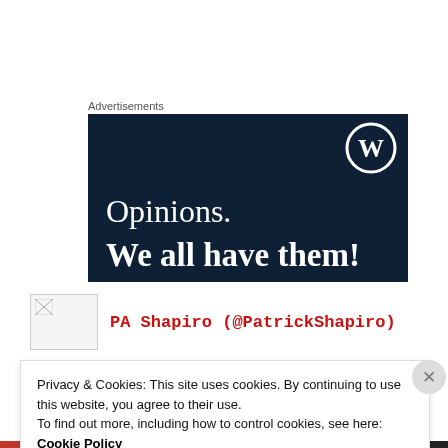Advertisements
[Figure (illustration): WordPress advertisement banner with dark navy background. WordPress logo (circle W) in top right. Text reads 'Opinions.' in serif font and 'We all have them!' in bold serif font.]
PA Shapiro (@PatrickShapiro)
Privacy & Cookies: This site uses cookies. By continuing to use this website, you agree to their use.
To find out more, including how to control cookies, see here: Cookie Policy
Close and accept